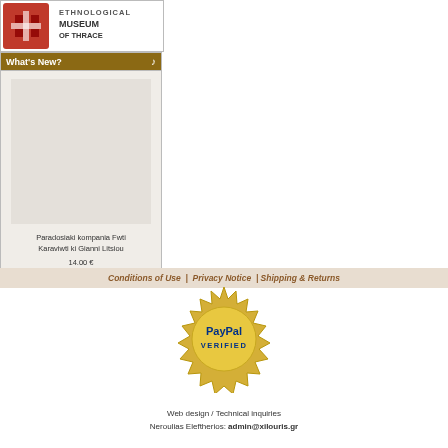[Figure (logo): Ethnological Museum of Thrace logo with decorative cross pattern icon and text]
What's New?
Paradosiaki kompania Fwti Karaviwti ki Gianni Litsiou
14.00 €
Conditions of Use  |  Privacy Notice  | Shipping & Returns
[Figure (logo): PayPal Verified seal badge in gold]
Web design / Technical inquiries
Neroulias Eleftherios: admin@xilouris.gr